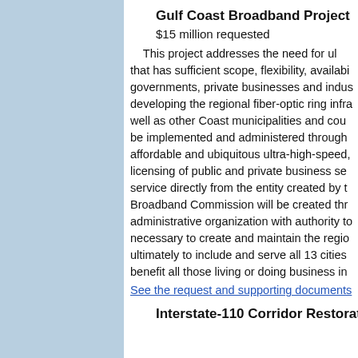Gulf Coast Broadband Project
$15 million requested
This project addresses the need for ul... that has sufficient scope, flexibility, availabi... governments, private businesses and indus... developing the regional fiber-optic ring infra... well as other Coast municipalities and cou... be implemented and administered through... affordable and ubiquitous ultra-high-speed,... licensing of public and private business se... service directly from the entity created by t... Broadband Commission will be created thr... administrative organization with authority to... necessary to create and maintain the regio... ultimately to include and serve all 13 cities... benefit all those living or doing business in
See the request and supporting documents
Interstate-110 Corridor Restoration